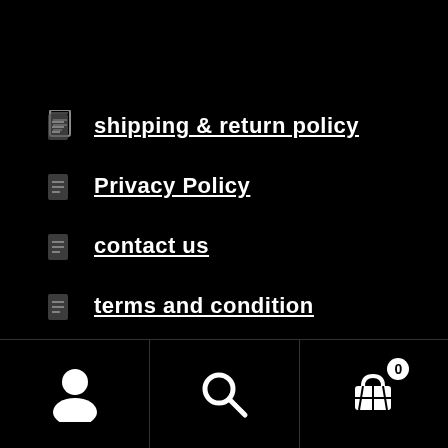shipping & return policy
Privacy Policy
contact us
terms and condition
customer rating
Hhc varsity jacket
[Figure (screenshot): Bottom navigation bar with user account icon, search icon, and cart icon with badge showing 0]